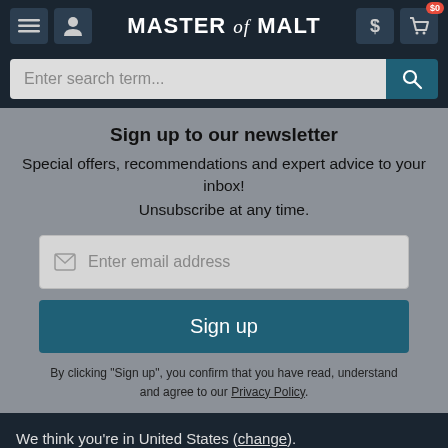Master of Malt — navigation header with menu, profile, currency ($), and cart ($0) buttons
Enter search term...
Sign up to our newsletter
Special offers, recommendations and expert advice to your inbox! Unsubscribe at any time.
Enter email address
Sign up
By clicking "Sign up", you confirm that you have read, understand and agree to our Privacy Policy.
We think you're in United States (change). The prices currently being shown in USD are